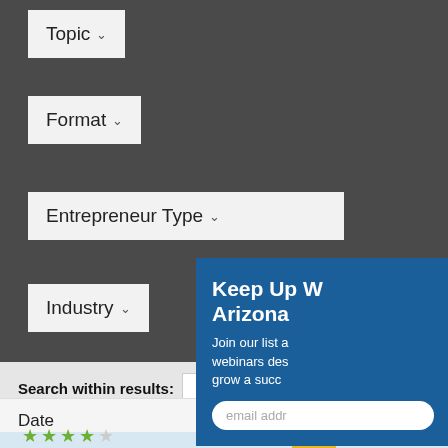Topic
Format
Entrepreneur Type
Industry
Search within results:
GO
Date
Keep Up W Arizona
Join our list a webinars des grow a succ
email addr
How To Use an Emergency Fund
Article Language: English